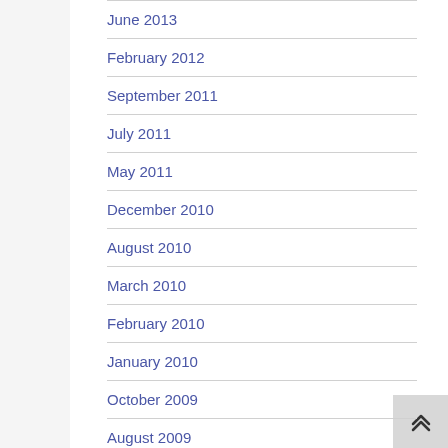June 2013
February 2012
September 2011
July 2011
May 2011
December 2010
August 2010
March 2010
February 2010
January 2010
October 2009
August 2009
July 2009